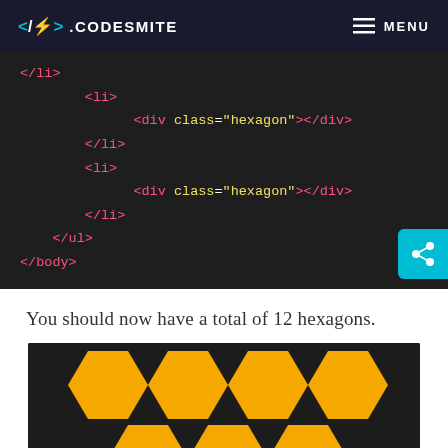</>. CODESMITE   MENU
[Figure (screenshot): Code block showing HTML snippet with </li>, <li>, <div class="hexagon"></div>, </li>, <li>, <div class="hexagon"></div>, </li>, </ul>, </body> on dark background]
You should now have a total of 12 hexagons.
[Figure (illustration): Dark background with yellow hexagon shapes arranged in a honeycomb grid pattern, partially visible]